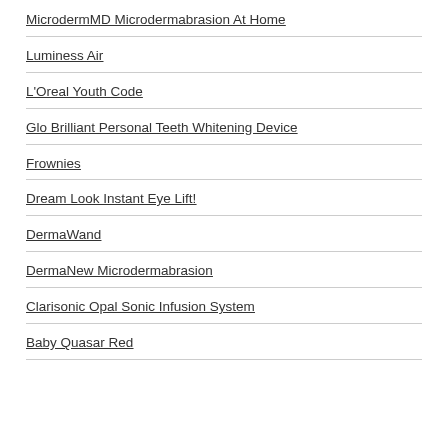MicrodermMD Microdermabrasion At Home
Luminess Air
L'Oreal Youth Code
Glo Brilliant Personal Teeth Whitening Device
Frownies
Dream Look Instant Eye Lift!
DermaWand
DermaNew Microdermabrasion
Clarisonic Opal Sonic Infusion System
Baby Quasar Red